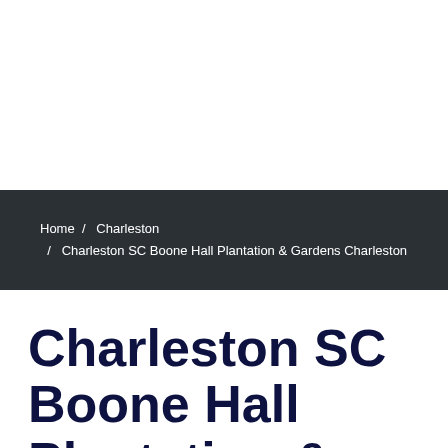Home / Charleston / Charleston SC Boone Hall Plantation & Gardens Charleston
Charleston SC Boone Hall Plantation & Gardens Charleston